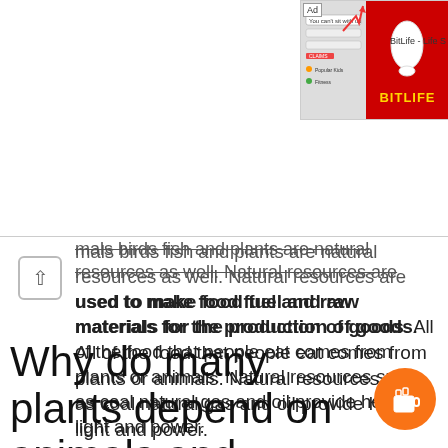[Figure (screenshot): Ad banner for BitLife - Life S game in top right corner, showing a red background with yellow BitLife logo and a game screenshot thumbnail on the left]
mals birds fish and plants are natural resources as well. Natural resources are used to make food fuel and raw materials for the production of goods. All of the food that people eat comes from plants or animals. Natural resources such as coal natural gas and oil provide heat light and power.
Why do many plants depend on animals and insects to help